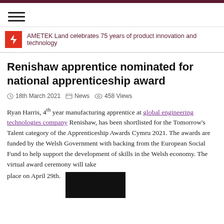AMETEK Land celebrates 75 years of product innovation and technology
Renishaw apprentice nominated for national apprenticeship award
18th March 2021   News   458 Views
Ryan Harris, 4th year manufacturing apprentice at global engineering technologies company Renishaw, has been shortlisted for the Tomorrow's Talent category of the Apprenticeship Awards Cymru 2021. The awards are funded by the Welsh Government with backing from the European Social Fund to help support the development of skills in the Welsh economy. The virtual award ceremony will take place on April 29th.
[Figure (photo): Dark photo, likely showing people at an event or apprenticeship related image]